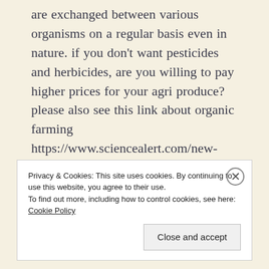are exchanged between various organisms on a regular basis even in nature. if you don't want pesticides and herbicides, are you willing to pay higher prices for your agri produce? please also see this link about organic farming https://www.sciencealert.com/new-study-shows-how-organic-farming-takes-its-toll-on-the-environment
Privacy & Cookies: This site uses cookies. By continuing to use this website, you agree to their use. To find out more, including how to control cookies, see here: Cookie Policy